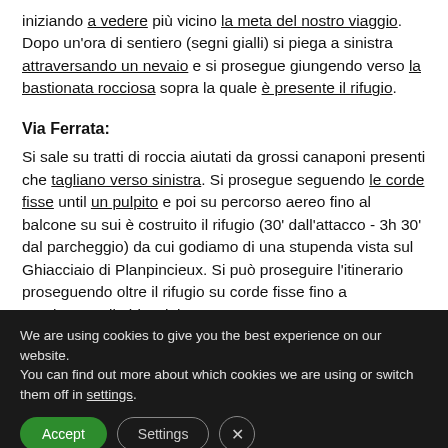iniziando a vedere più vicino la meta del nostro viaggio. Dopo un'ora di sentiero (segni gialli) si piega a sinistra attraversando un nevaio e si prosegue giungendo verso la bastionata rocciosa sopra la quale è presente il rifugio.
Via Ferrata:
Si sale su tratti di roccia aiutati da grossi canaponi presenti che tagliano verso sinistra. Si prosegue seguendo le corde fisse until un pulpito e poi su percorso aereo fino al balcone su sui è costruito il rifugio (30' dall'attacco - 3h 30' dal parcheggio) da cui godiamo di una stupenda vista sul Ghiacciaio di Planpincieux. Si può proseguire l'itinerario proseguendo oltre il rifugio su corde fisse fino a raggiungere il ghiacciaio.
We are using cookies to give you the best experience on our website.
You can find out more about which cookies we are using or switch them off in settings.